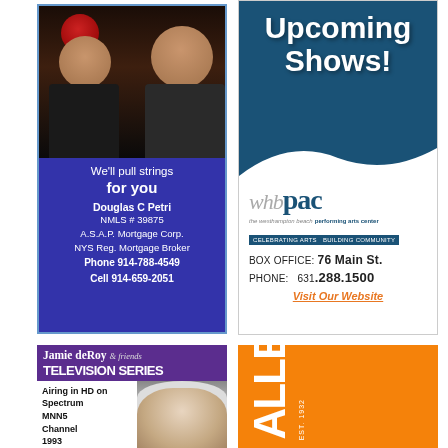[Figure (illustration): Advertisement for A.S.A.P. Mortgage Corp featuring photo of two men with a puppet. Blue background with text: We'll pull strings for you. Douglas C Petri, NMLS # 39875, A.S.A.P. Mortgage Corp., NYS Reg. Mortgage Broker, Phone 914-788-4549, Cell 914-659-2051]
[Figure (illustration): Advertisement for WHB PAC (Westhampton Beach Performing Arts Center). Large text: Upcoming Shows! Logo with whbpac. BOX OFFICE: 76 Main St. PHONE: 631.288.1500. Visit Our Website]
[Figure (illustration): Advertisement for Jamie deRoy & friends TELEVISION SERIES. Airing in HD on Spectrum MNN5 Channel 1993 and on FIOS. Photo of woman with white hair.]
[Figure (illustration): Orange advertisement for GALLERIES EST. 1932. Text displayed vertically on orange background.]